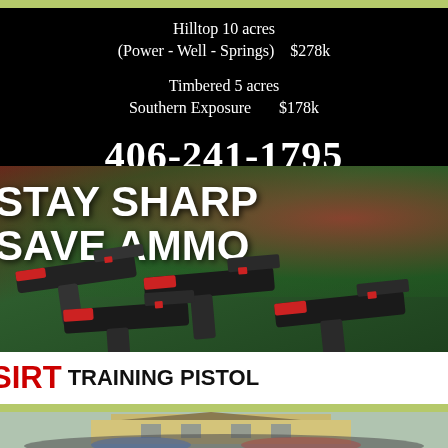[Figure (infographic): Real estate advertisement on black background. Text: 'Hilltop 10 acres (Power - Well - Springs) $278k', 'Timbered 5 acres Southern Exposure $178k', phone number '406-241-1795']
[Figure (infographic): Gun training advertisement with blurred green/red background. Shows multiple SIRT training pistols with text 'STAY SHARP SAVE AMMO' in white bold text and 'SIRT TRAINING PISTOL' at the bottom with SIRT in red.]
[Figure (photo): Photo of a group of people (large crowd) posing in front of a two-story house/building.]